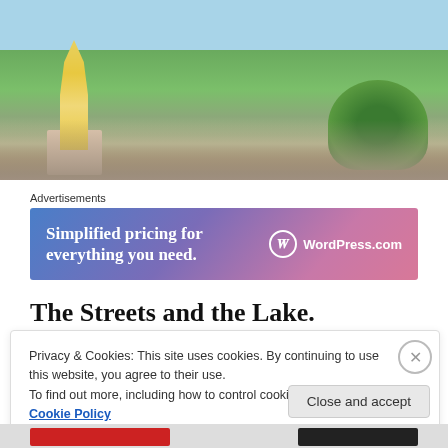[Figure (photo): Outdoor photo showing a Hindu temple spire (yellow/golden), buildings in a town, lush green hills and trees in the background, blue sky at the top.]
Advertisements
[Figure (other): WordPress.com advertisement banner with gradient blue-purple-pink background. Text: 'Simplified pricing for everything you need.' with WordPress.com logo on the right.]
The Streets and the Lake.
Privacy & Cookies: This site uses cookies. By continuing to use this website, you agree to their use.
To find out more, including how to control cookies, see here: Cookie Policy
Close and accept